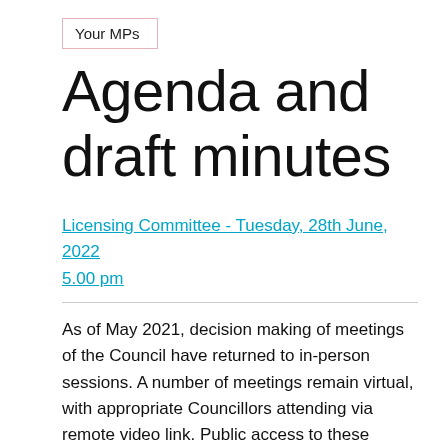Your MPs
Agenda and draft minutes
Licensing Committee - Tuesday, 28th June, 2022 5.00 pm
As of May 2021, decision making of meetings of the Council have returned to in-person sessions. A number of meetings remain virtual, with appropriate Councillors attending via remote video link. Public access to these meetings is via a live stream video through the Council's official